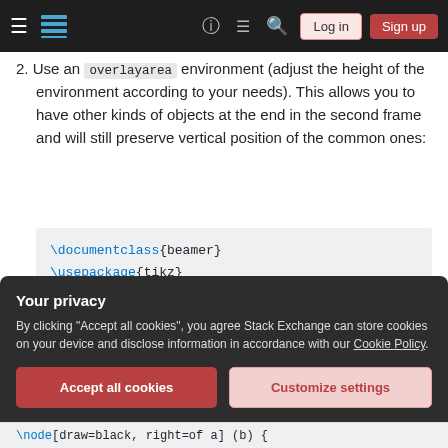Stack Exchange navigation bar with hamburger menu, logo, help, chat, search icons, Log in and Sign up buttons
2. Use an overlayarea environment (adjust the height of the environment according to your needs). This allows you to have other kinds of objects at the end in the second frame and will still preserve vertical position of the common ones:
[Figure (screenshot): Code block showing LaTeX code: \documentclass{beamer} \usepackage{tikz} \usetikzlibrary{positioning} \begin{document}]
Your privacy
By clicking "Accept all cookies", you agree Stack Exchange can store cookies on your device and disclose information in accordance with our Cookie Policy.
Accept all cookies   Customize settings
[Figure (screenshot): Bottom partial code line: \node[draw=black, right=of a] (b) {]